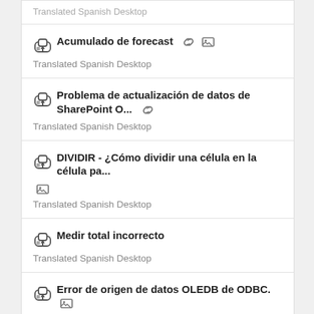Acumulado de forecast — Translated Spanish Desktop
Problema de actualización de datos de SharePoint O... — Translated Spanish Desktop
DIVIDIR - ¿Cómo dividir una célula en la célula pa... — Translated Spanish Desktop
Medir total incorrecto — Translated Spanish Desktop
Error de origen de datos OLEDB de ODBC. — Translated Spanish Desktop